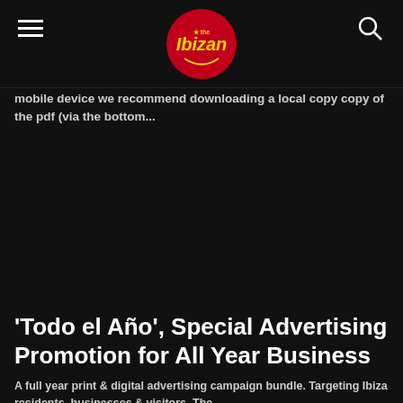The Ibizan
mobile device we recommend downloading a local copy copy of the pdf (via the bottom...
[Figure (other): Dark blank area, likely an embedded PDF viewer or advertisement placeholder]
advertising
'Todo el Año', Special Advertising Promotion for All Year Business
A full year print & digital advertising campaign bundle. Targeting Ibiza residents, businesses & visitors. The bundle being a campaign consisting of 17366 on the total...